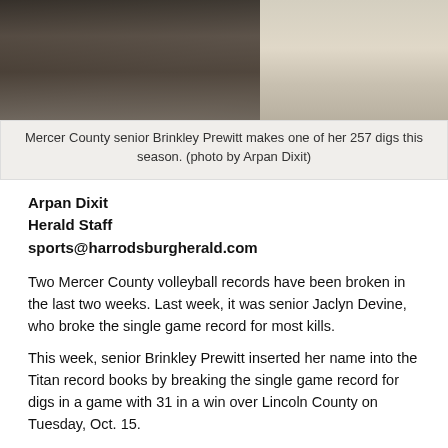[Figure (photo): Photo of Mercer County senior Brinkley Prewitt making a dig on a volleyball court, wearing black shorts and top.]
Mercer County senior Brinkley Prewitt makes one of her 257 digs this season. (photo by Arpan Dixit)
Arpan Dixit
Herald Staff
sports@harrodsburgherald.com
Two Mercer County volleyball records have been broken in the last two weeks. Last week, it was senior Jaclyn Devine, who broke the single game record for most kills.
This week, senior Brinkley Prewitt inserted her name into the Titan record books by breaking the single game record for digs in a game with 31 in a win over Lincoln County on Tuesday, Oct. 15.
Prewitt leads the Titans with 257 digs this season as the libero. Breaking the record wasn't something Prewitt was thinking about.
“I think that it wasn’t something I was consciously trying to do, which surprised me,” said Prewitt. “It’s also exciting to know how much our team and I have improved from previous years. My